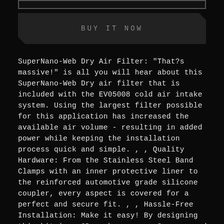[Figure (other): Top decorative bar element, dark background with border]
BUY IT NOW
SuperNano-Web Dry Air Filter: "That?s massive!" is all you will hear about this SuperNano-Web Dry air filter that is included with the EV05008 cold air intake system. Using the largest filter possible for this application has increased the available air volume - resulting in added power while keeping the installation process quick and simple. , , Quality Hardware: From the Stainless Steel Band Clamps with an inner protective liner to the reinforced automotive grade silicone coupler, every aspect is covered for a perfect and secure fit. , , Hassle-Free Installation: Make it easy! By designing this kit in a 3D workspace, you?re ensured a quick and easy installation that not only increases the power output of your engine, but also provides a clean and powerful look that others see every time you pop your hood. , , Dyno Proven: Clean and simple,